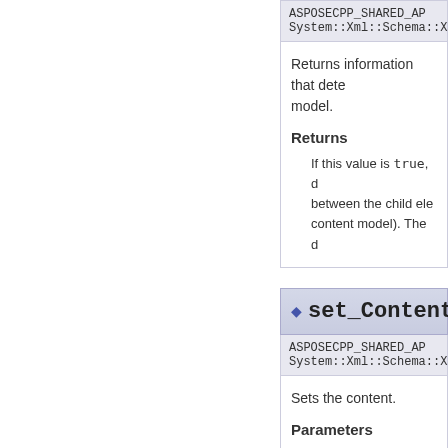ASPOSECPP_SHARED_AP...
System::Xml::Schema::XmlS...
Returns information that dete... model.
Returns
If this value is true, d... between the child ele... content model). The d...
◆ set_Content()
ASPOSECPP_SHARED_AP...
System::Xml::Schema::XmlS...
Sets the content.
Parameters
value The value to se...